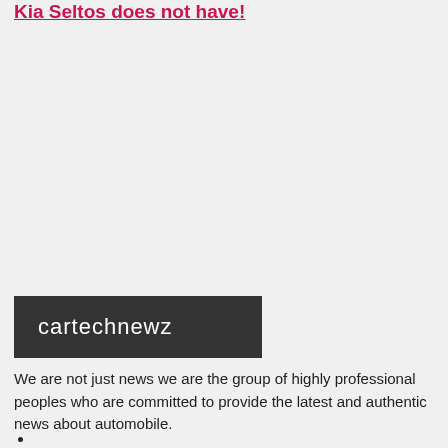Kia Seltos does not have!
[Figure (logo): cartechnewz logo — white text on dark grey/charcoal background]
We are not just news we are the group of highly professional peoples who are committed to provide the latest and authentic news about automobile.